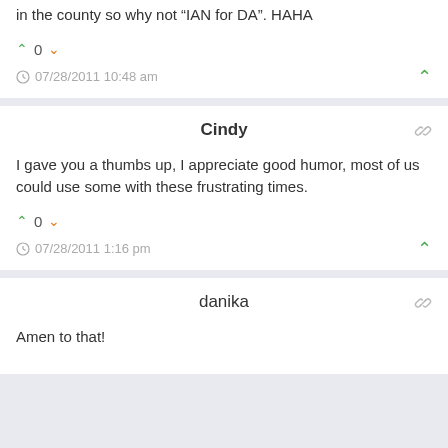in the county so why not “IAN for DA”. HAHA
^ 0 v
07/28/2011 10:48 am
Cindy
I gave you a thumbs up, I appreciate good humor, most of us could use some with these frustrating times.
^ 0 v
07/28/2011 1:16 pm
danika
Amen to that!